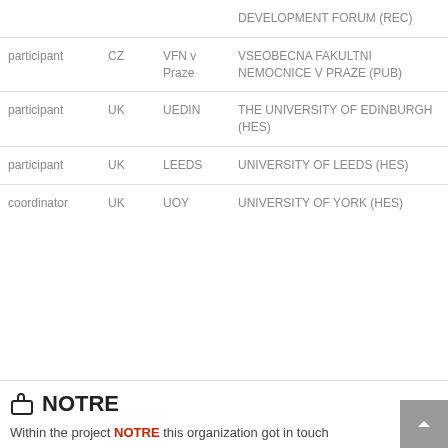| Role | Country | Short name | Full name |
| --- | --- | --- | --- |
|  |  |  | DEVELOPMENT FORUM (REC) |
| participant | CZ | VFN v Praze | VSEOBECNA FAKULTNI NEMOCNICE V PRAZE (PUB) |
| participant | UK | UEDIN | THE UNIVERSITY OF EDINBURGH (HES) |
| participant | UK | LEEDS | UNIVERSITY OF LEEDS (HES) |
| coordinator | UK | UOY | UNIVERSITY OF YORK (HES) |
NOTRE
Within the project NOTRE this organization got in touch